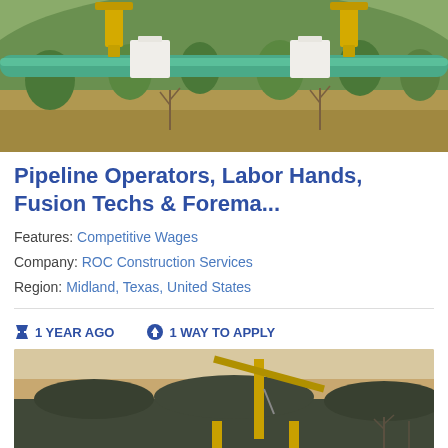[Figure (photo): Pipeline construction site with green pipes and yellow cranes against a hillside with trees and dry brush]
Pipeline Operators, Labor Hands, Fusion Techs & Forema...
Features: Competitive Wages
Company: ROC Construction Services
Region: Midland, Texas, United States
⌛ 1 YEAR AGO   ☁ 1 WAY TO APPLY
[Figure (photo): Pipeline construction site at dusk with crane machinery against a sky and hillside landscape]